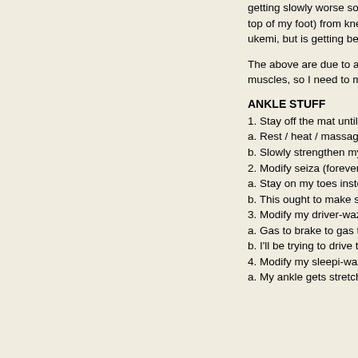getting slowly worse so I decided to sit out. I've since been to the doctor and discovered that I strained a tendon in my ankle (on the top of my foot) from kneeling in seiza, and I have "golfer's elbow" (tendon problem on the inside of my elbow). My back was sore from ukemi, but is getting better after walking out of throws instead of hitting my back on the mat.
The above are due to a combination of having turned 40 on the 9th [emoji], my Hyper Mobility Syndrome (HMS) and weak supporting muscles, so I need to make some changes:
ANKLE STUFF
1. Stay off the mat until my ankle gets better.
a. Rest / heat / massage / until better.
b. Slowly strengthen my ankles after things heal up.
2. Modify seiza (forever).
a. Stay on my toes instead of going down on the tops of my ankles.
b. This ought to make suwari-waza interesting.
3. Modify my driver-waza.
a. Gas to brake to gas to brake during my commute causes pain.
b. I'll be trying to drive two-footed for a while and see if that helps.
4. Modify my sleepi-waza.
a. My ankle gets stretched / twisted by the weight of the blankets / sheets ...More [icon]